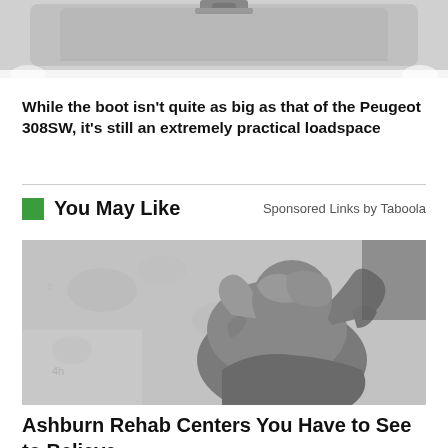[Figure (photo): Partial view of a car boot/trunk from above, showing the interior loadspace, cropped at the top of the page]
While the boot isn't quite as big as that of the Peugeot 308SW, it's still an extremely practical loadspace
You May Like   Sponsored Links by Taboola
[Figure (photo): Black and white photo of a person in distress, hunched over with hands covering their face, sitting against a wall]
Ashburn Rehab Centers You Have to See to Believe